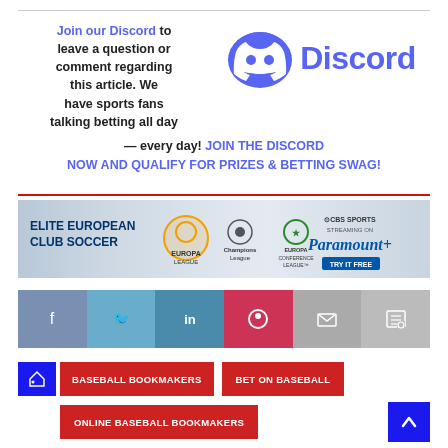Join our Discord to leave a question or comment regarding this article. We have sports fans talking betting all day — every day! JOIN THE DISCORD NOW AND QUALIFY FOR PRIZES & BETTING SWAG!
[Figure (logo): Discord logo with icon and wordmark in blue/purple]
[Figure (infographic): Elite European Club Soccer advertisement banner for CBS Sports streaming on Paramount+ featuring Europa League, Champions League, and Europa Conference League logos]
[Figure (infographic): Social sharing bar with Facebook, Twitter, LinkedIn, Pinterest, Email, and Print buttons]
BASEBALL BOOKMAKERS
BET ON BASEBALL
ONLINE BASEBALL BOOKMAKERS